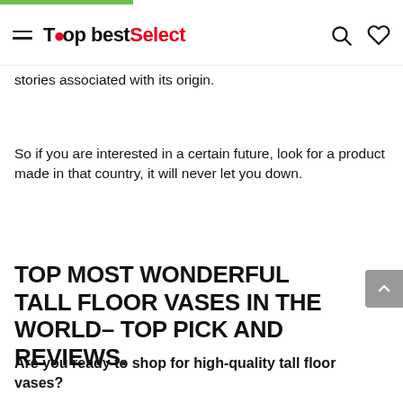TopbestSelect
stories associated with its origin.
So if you are interested in a certain future, look for a product made in that country, it will never let you down.
TOP MOST WONDERFUL TALL FLOOR VASES IN THE WORLD- TOP PICK AND REVIEWS.
Are you ready to shop for high-quality tall floor vases?